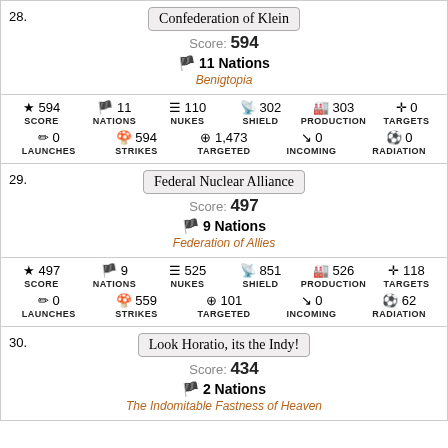28.
Confederation of Klein
Score: 594
🏴 11 Nations
Benigtopia
| SCORE | NATIONS | NUKES | SHIELD | PRODUCTION | TARGETS |
| --- | --- | --- | --- | --- | --- |
| ★ 594 | 🏴 11 | ≡ 110 | 📡 302 | 🏭 303 | ✛ 0 |
| LAUNCHES 🗡 0 | STRIKES 🍄 594 | TARGETED ⊕ 1,473 | INCOMING 📉 0 | RADIATION ⚽ 0 |  |
29.
Federal Nuclear Alliance
Score: 497
🏴 9 Nations
Federation of Allies
| SCORE | NATIONS | NUKES | SHIELD | PRODUCTION | TARGETS |
| --- | --- | --- | --- | --- | --- |
| ★ 497 | 🏴 9 | ≡ 525 | 📡 851 | 🏭 526 | ✛ 118 |
| LAUNCHES 🗡 0 | STRIKES 🍄 559 | TARGETED ⊕ 101 | INCOMING 📉 0 | RADIATION ⚽ 62 |  |
30.
Look Horatio, its the Indy!
Score: 434
🏴 2 Nations
The Indomitable Fastness of Heaven